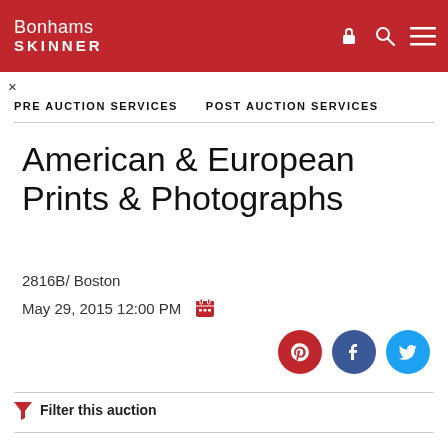Bonhams SKINNER
×
PRE AUCTION SERVICES  POST AUCTION SERVICES
American & European Prints & Photographs
2816B/ Boston
May 29, 2015 12:00 PM
[Figure (infographic): Social share buttons: Pinterest (red), Facebook (dark blue), Twitter (light blue)]
Filter this auction